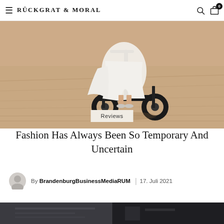RÜCKGRAT & MORAL
[Figure (photo): Person in white dress riding a black electric scooter on a sandy/dusty surface, photo cropped to show lower body and scooter]
Reviews
Fashion Has Always Been So Temporary And Uncertain
By BrandenburgBusinessMediaRUM | 17. Juli 2021
[Figure (photo): Partial view of a dark interior scene, bottom of page teaser image]